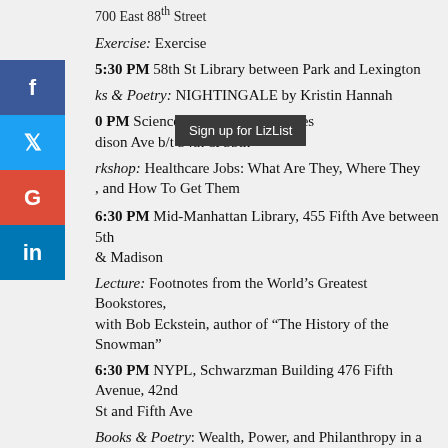700 East 88th Street
Exercise: Exercise
5:30 PM 58th St Library between Park and Lexington
Books & Poetry: NIGHTINGALE by Kristin Hannah
0 PM Science, Industry and Business ... dison Ave b/t 34th & 35th
Workshop: Healthcare Jobs: What Are They, Where They , and How To Get Them
6:30 PM Mid-Manhattan Library, 455 Fifth Ave between 5th & Madison
Lecture: Footnotes from the World’s Greatest Bookstores, with Bob Eckstein, author of “The History of the Snowman”
6:30 PM NYPL, Schwarzman Building 476 Fifth Avenue, 42nd St and Fifth Ave
Books & Poetry: Wealth, Power, and Philanthropy in a New Gilded Age